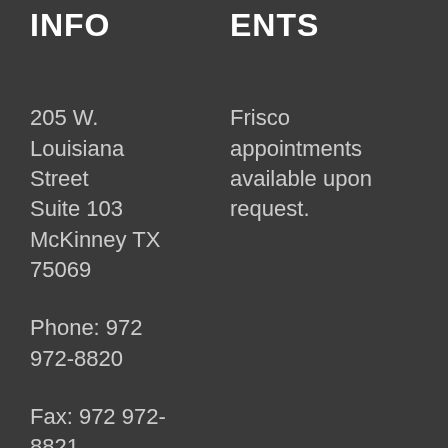INFO
ENTS
205 W. Louisiana Street Suite 103 McKinney TX 75069
Frisco appointments available upon request.
Phone: 972 972-8820
Fax: 972 972-8821
Web: NorthTexasFamilyLawyers.co